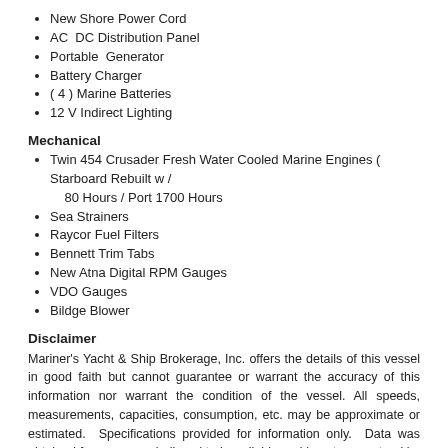New Shore Power Cord
AC  DC Distribution Panel
Portable  Generator
Battery Charger
( 4 ) Marine Batteries
12 V Indirect Lighting
Mechanical
Twin 454 Crusader Fresh Water Cooled Marine Engines ( Starboard Rebuilt w / 80 Hours / Port 1700 Hours
Sea Strainers
Raycor Fuel Filters
Bennett Trim Tabs
New Atna Digital RPM Gauges
VDO Gauges
Bildge Blower
Disclaimer
Mariner's Yacht & Ship Brokerage, Inc. offers the details of this vessel in good faith but cannot guarantee or warrant the accuracy of this information nor warrant the condition of the vessel. All speeds, measurements, capacities, consumption, etc. may be approximate or estimated.  Specifications provided for information only.  Data was obtained from sources believed to be reliable and is not guaranteed by owner or brokers.  Buyer assumes the responsibility to ascertain the correctness of all data contained herein and otherwise provided and must instruct his agent and surveyors to confirm all details for accuracy prior to purchase. This vessel is offered subject to prior sale, price change, or withdrawal without notice. All photographs, descriptions and technical data are the sole property of Mariner's Yacht & Ship Brokerage, Inc. and may not be copied, reproduced or redistributed in part or in whole by any method without